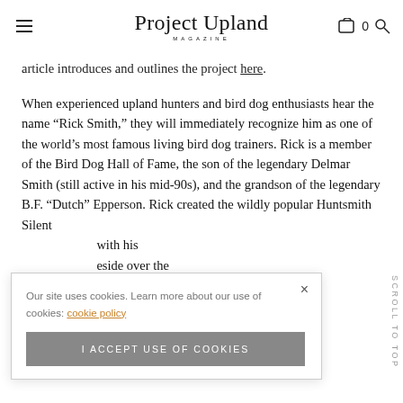Project Upland MAGAZINE
article introduces and outlines the project here.
When experienced upland hunters and bird dog enthusiasts hear the name “Rick Smith,” they will immediately recognize him as one of the world’s most famous living bird dog trainers. Rick is a member of the Bird Dog Hall of Fame, the son of the legendary Delmar Smith (still active in his mid-90s), and the grandson of the legendary B.F. “Dutch” Epperson. Rick created the wildly popular Huntsmith Silent [Whis...] with his [...] side over their [...] offered in [...] ons, corresponding to the different Smith bird dog
Our site uses cookies. Learn more about our use of cookies: cookie policy
I ACCEPT USE OF COOKIES
Scroll To Top